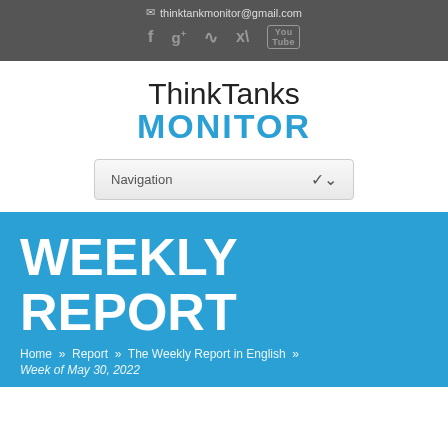thinktankmonitor@gmail.com
[Figure (illustration): Social media icons: Facebook, Google+, RSS feed, Twitter, YouTube displayed in gray on dark background]
[Figure (logo): ThinkTanks Monitor logo — 'ThinkTanks' in thin dark text above 'MONITOR' in bold blue uppercase text]
Navigation
WEEKLY REPORT
Home » Report » The Weekly Report in English »
Week of May 30, 2022